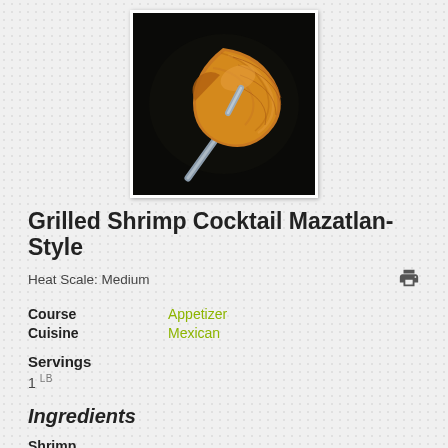[Figure (photo): A grilled shrimp being held by metal tongs against a dark/black background. The shrimp appears cooked and golden-orange in color.]
Grilled Shrimp Cocktail Mazatlan-Style
Heat Scale: Medium
Course   Appetizer
Cuisine   Mexican
Servings
1 LB
Ingredients
Shrimp